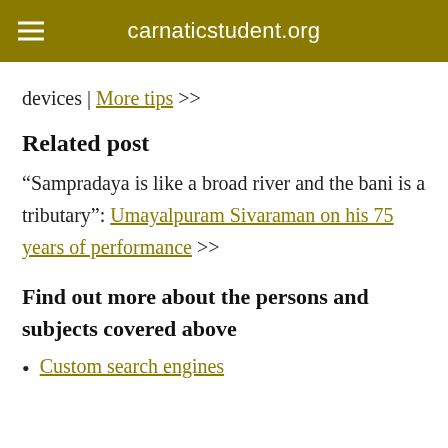carnaticstudent.org
devices | More tips >>
Related post
“Sampradaya is like a broad river and the bani is a tributary”: Umayalpuram Sivaraman on his 75 years of performance >>
Find out more about the persons and subjects covered above
Custom search engines